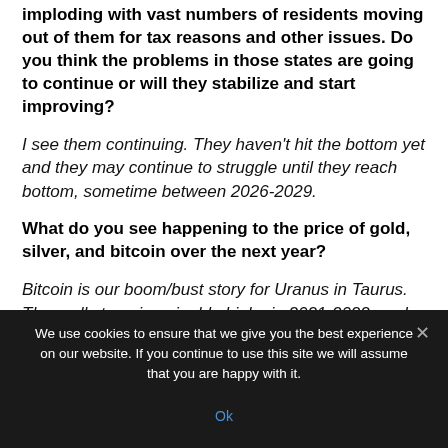imploding with vast numbers of residents moving out of them for tax reasons and other issues. Do you think the problems in those states are going to continue or will they stabilize and start improving?
I see them continuing. They haven't hit the bottom yet and they may continue to struggle until they reach bottom, sometime between 2026-2029.
What do you see happening to the price of gold, silver, and bitcoin over the next year?
Bitcoin is our boom/bust story for Uranus in Taurus. They rally to unimaginable highs in 2021-2022, and then they
We use cookies to ensure that we give you the best experience on our website. If you continue to use this site we will assume that you are happy with it.